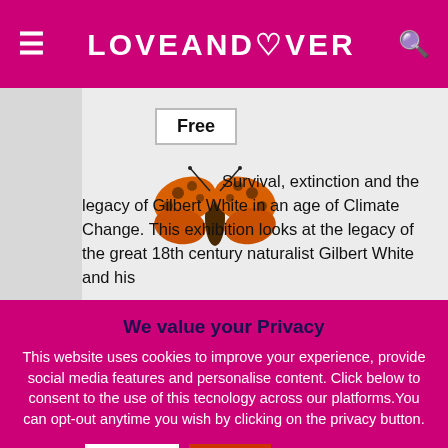LOVEANDOVER
Free
[Figure (photo): A moth/butterfly illustration with orange and brown patterned wings]
Survival, extinction and the legacy of Gilbert White in an age of Climate Change. This exhibition looks at the legacy of the great 18th century naturalist Gilbert White and his
We value your Privacy
This website uses cookies to improve your experience, provide social media features and personalise content. Click below to consent to the use of this tecnology across our platforms.You can opt-out anytime you wish by clicking on the privacy button.
Accept  Reject  Read More